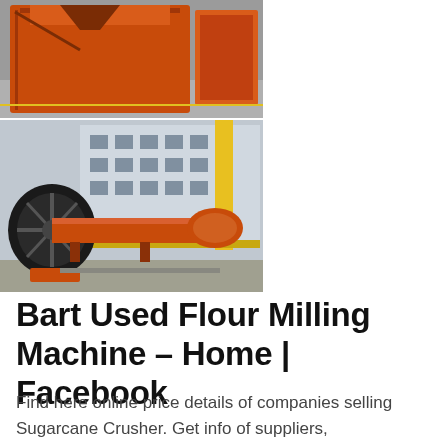[Figure (photo): Two industrial machine photos: top shows an orange metal crushing/milling machine on a factory floor; bottom shows large orange cylindrical rotary drum/kiln equipment outdoors with a yellow gantry crane and industrial building in background.]
Bart Used Flour Milling Machine – Home | Facebook
Find here online price details of companies selling Sugarcane Crusher. Get info of suppliers, manufacturers, exporters, traders of Sugarcane